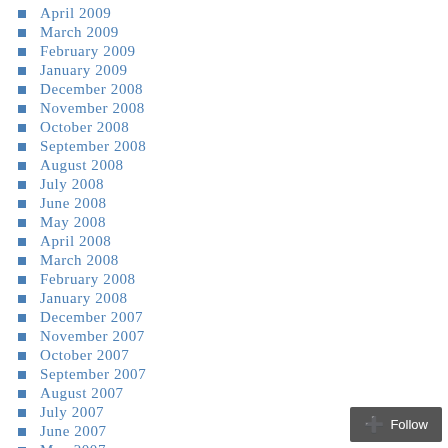April 2009
March 2009
February 2009
January 2009
December 2008
November 2008
October 2008
September 2008
August 2008
July 2008
June 2008
May 2008
April 2008
March 2008
February 2008
January 2008
December 2007
November 2007
October 2007
September 2007
August 2007
July 2007
June 2007
May 2007
April 2007